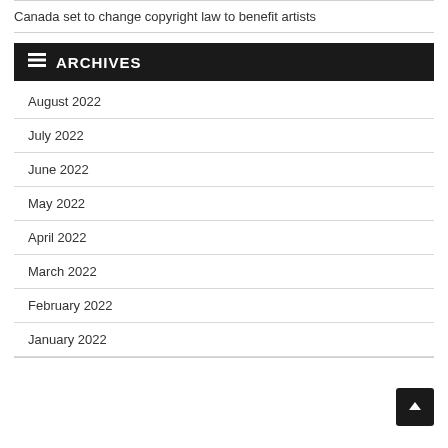Canada set to change copyright law to benefit artists
ARCHIVES
August 2022
July 2022
June 2022
May 2022
April 2022
March 2022
February 2022
January 2022